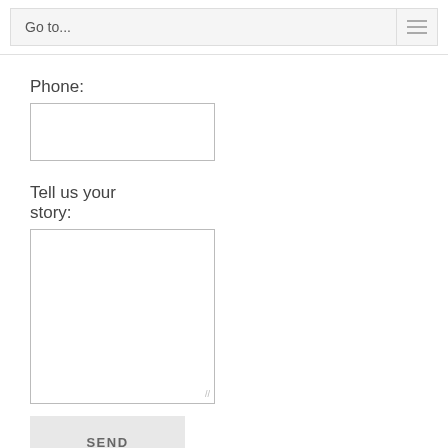Go to...
Phone:
[Figure (other): Empty text input field for phone number]
Tell us your story:
[Figure (other): Large empty textarea for user story input]
[Figure (other): SEND button]
Please Note: